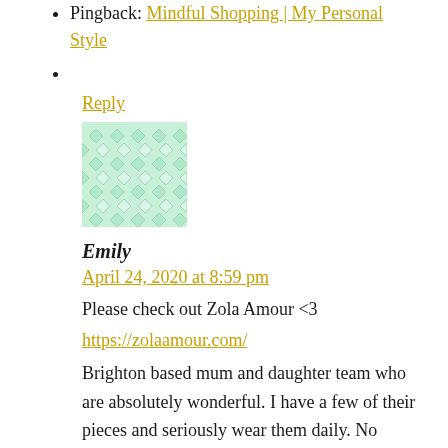Pingback: Mindful Shopping | My Personal Style
Reply
[Figure (illustration): Diamond/geometric pattern avatar placeholder in light mint green color]
Emily
April 24, 2020 at 8:59 pm
Please check out Zola Amour <3
https://zolaamour.com/
Brighton based mum and daughter team who are absolutely wonderful. I have a few of their pieces and seriously wear them daily. No 'seasons' either, pay a living wage all the way down the supply chain, stitch in organic cotton so everything is compostable and organic fabric only. Also, have a Klarna agreement so you can split the cost over 3 months